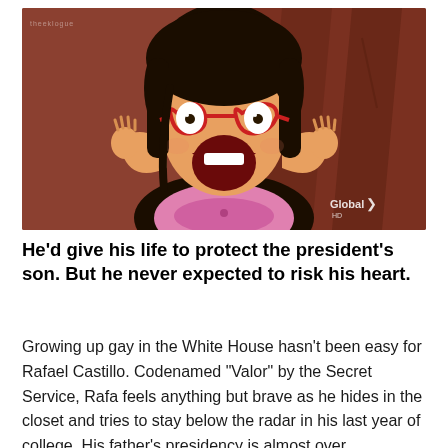[Figure (illustration): Animated cartoon character (Linda from Bob's Burgers) with black hair, red cat-eye glasses, wide open mouth in surprised/excited expression, hands raised to her cheeks, wearing a pink top. Brown background. 'Global HD' watermark in bottom right corner.]
He'd give his life to protect the president's son. But he never expected to risk his heart.
Growing up gay in the White House hasn't been easy for Rafael Castillo. Codenamed "Valor" by the Secret Service, Rafa feels anything but brave as he hides in the closet and tries to stay below the radar in his last year of college. His father's presidency is almost over,